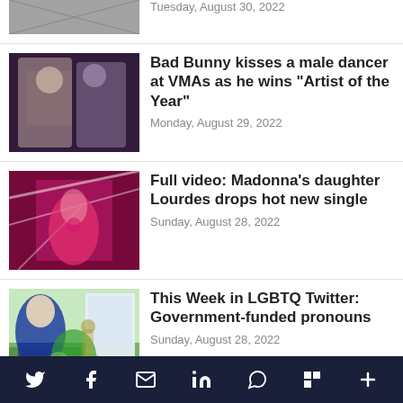[Figure (photo): Partial top news item thumbnail - grayscale people image]
Tuesday, August 30, 2022
[Figure (photo): Two people kissing on stage, dark background]
Bad Bunny kisses a male dancer at VMAs as he wins “Artist of the Year”
Monday, August 29, 2022
[Figure (photo): Woman in pink outfit with neon lights]
Full video: Madonna’s daughter Lourdes drops hot new single
Sunday, August 28, 2022
[Figure (photo): Older man in suit with cartoon dragon guitar in front of white house]
This Week in LGBTQ Twitter: Government-funded pronouns
Sunday, August 28, 2022
[Figure (photo): Partial bottom news item thumbnail]
Independent Spirit Awards to
Social share bar with Twitter, Facebook, Email, LinkedIn, WhatsApp, Flipboard, More icons